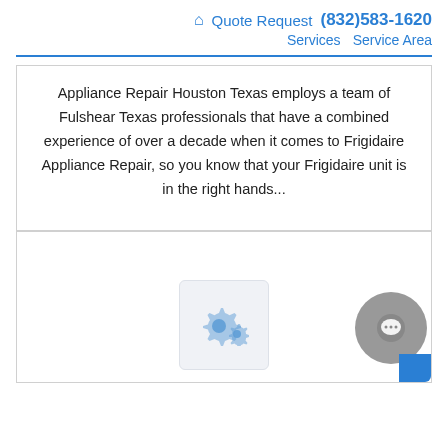🏠 Quote Request (832)583-1620 Services Service Area
Appliance Repair Houston Texas employs a team of Fulshear Texas professionals that have a combined experience of over a decade when it comes to Frigidaire Appliance Repair, so you know that your Frigidaire unit is in the right hands...
[Figure (illustration): Gear/settings icon widget in a light gray rounded box, with a circular chat button (gray circle with white chat icon, blue tail) in the bottom right corner]